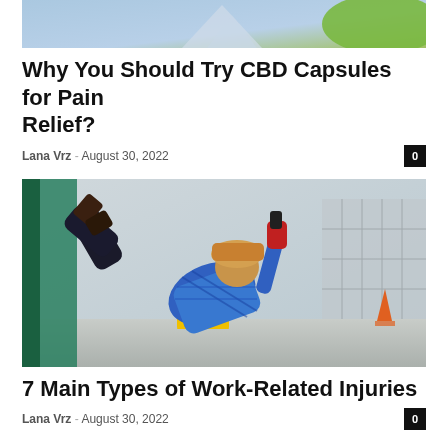[Figure (photo): Partial top image showing sky blue background and green leaf/plant element - top portion of a CBD capsules article image]
Why You Should Try CBD Capsules for Pain Relief?
Lana Vrz - August 30, 2022
[Figure (photo): Worker in blue plaid shirt and hard hat falling backwards in a hallway, holding a power drill, with a yellow caution wet floor sign and orange cone visible]
7 Main Types of Work-Related Injuries
Lana Vrz - August 30, 2022